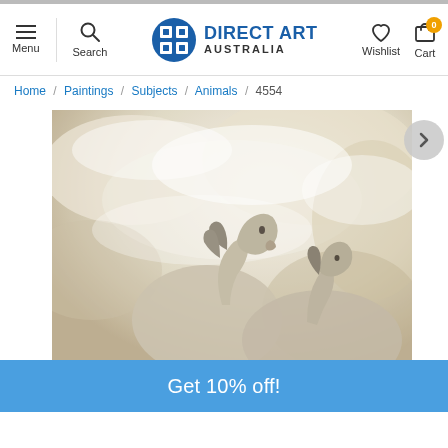Direct Art Australia — Menu, Search, Wishlist, Cart (0)
Home / Paintings / Subjects / Animals / 4554
[Figure (photo): Painting of two grey horses close together with an abstract textured background in muted beige, white, and brown tones. The horses face different directions with flowing manes.]
Get 10% off!